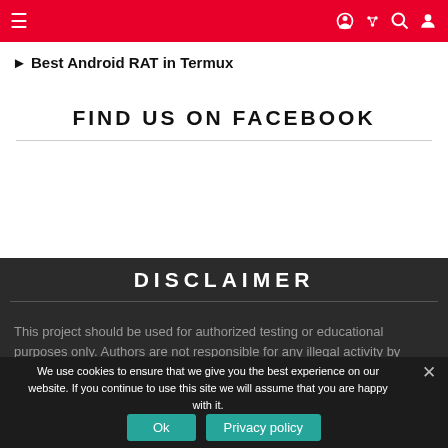≡  ) ⋯ 🔍 👤
▶ Best Android RAT in Termux
FIND US ON FACEBOOK
DISCLAIMER
This project should be used for authorized testing or educational purposes only. Authors are not responsible for any illegal activity by
We use cookies to ensure that we give you the best experience on our website. If you continue to use this site we will assume that you are happy with it.
Ok    Privacy policy